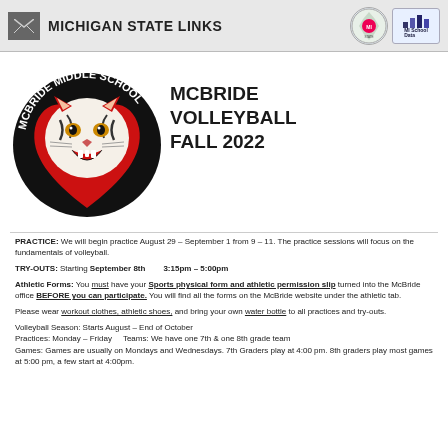MICHIGAN STATE LINKS
[Figure (logo): McBride Middle School tiger mascot logo in red and black oval with text around it]
MCBRIDE VOLLEYBALL FALL 2022
PRACTICE: We will begin practice August 29 - September 1 from 9 - 11. The practice sessions will focus on the fundamentals of volleyball.
TRY-OUTS: Starting September 8th   3:15pm - 5:00pm
Athletic Forms: You must have your Sports physical form and athletic permission slip turned into the McBride office BEFORE you can participate. You will find all the forms on the McBride website under the athletic tab.
Please wear workout clothes, athletic shoes, and bring your own water bottle to all practices and try-outs.
Volleyball Season: Starts August - End of October
Practices: Monday - Friday    Teams: We have one 7th & one 8th grade team
Games: Games are usually on Mondays and Wednesdays. 7th Graders play at 4:00 pm. 8th graders play most games at 5:00 pm, a few start at 4:00pm.